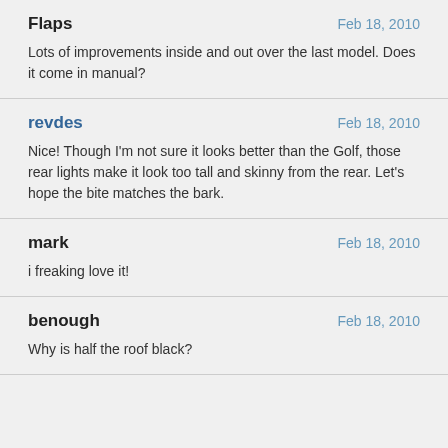Flaps | Feb 18, 2010
Lots of improvements inside and out over the last model. Does it come in manual?
revdes | Feb 18, 2010
Nice! Though I'm not sure it looks better than the Golf, those rear lights make it look too tall and skinny from the rear. Let's hope the bite matches the bark.
mark | Feb 18, 2010
i freaking love it!
benough | Feb 18, 2010
Why is half the roof black?